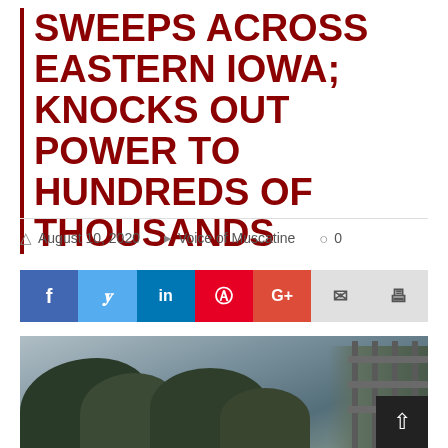SWEEPS ACROSS EASTERN IOWA; KNOCKS OUT POWER TO HUNDREDS OF THOUSANDS
August 10, 2020  Voice of Muscatine  0
[Figure (other): Social media share bar with Facebook, Twitter, LinkedIn, Pinterest, Google+, Email, and Print buttons]
[Figure (photo): Outdoor photograph showing trees and a metal fence structure against a grey overcast sky]